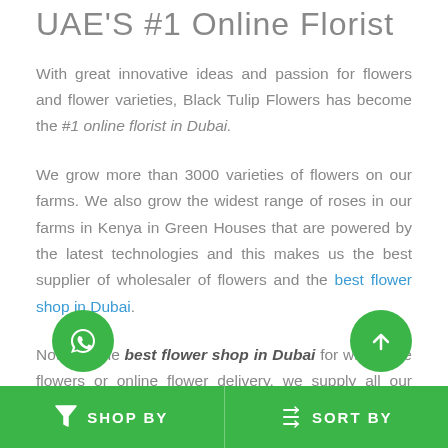UAE'S #1 Online Florist
With great innovative ideas and passion for flowers and flower varieties, Black Tulip Flowers has become the #1 online florist in Dubai.
We grow more than 3000 varieties of flowers on our farms. We also grow the widest range of roses in our farms in Kenya in Green Houses that are powered by the latest technologies and this makes us the best supplier of wholesaler of flowers and the best flower shop in Dubai.
Not only the best flower shop in Dubai for wholesale flowers or online flower delivery, we supply all our customers flower bouquets and flower arrangements according to their requirements which can be customized.
SHOP BY   SORT BY